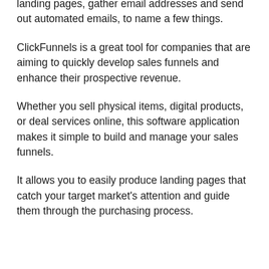landing pages, gather email addresses and send out automated emails, to name a few things.
ClickFunnels is a great tool for companies that are aiming to quickly develop sales funnels and enhance their prospective revenue.
Whether you sell physical items, digital products, or deal services online, this software application makes it simple to build and manage your sales funnels.
It allows you to easily produce landing pages that catch your target market's attention and guide them through the purchasing process.